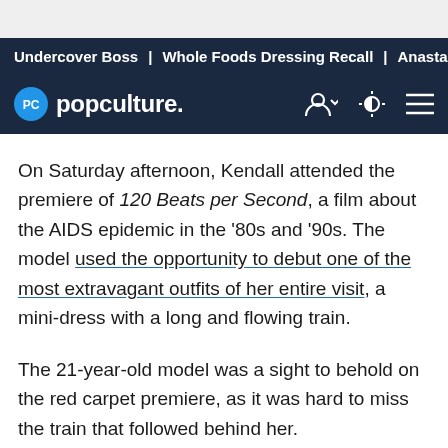Undercover Boss | Whole Foods Dressing Recall | Anastasia
[Figure (logo): Popculture.com logo with navigation icons on dark navy background]
On Saturday afternoon, Kendall attended the premiere of 120 Beats per Second, a film about the AIDS epidemic in the '80s and '90s. The model used the opportunity to debut one of the most extravagant outfits of her entire visit, a mini-dress with a long and flowing train.
The 21-year-old model was a sight to behold on the red carpet premiere, as it was hard to miss the train that followed behind her.
Other stars on the red carpet chose to embrace influences